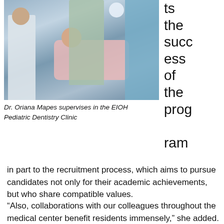[Figure (photo): Dental clinic scene showing Dr. Oriana Mapes supervising in the EIOH Pediatric Dentistry Clinic. A patient reclines in a dental chair while two practitioners in scrubs and a person in a white coat are visible.]
Dr. Oriana Mapes supervises in the EIOH Pediatric Dentistry Clinic
ts the success of the program in part to the recruitment process, which aims to pursue candidates not only for their academic achievements, but who share compatible values.
“Also, collaborations with our colleagues throughout the medical center benefit residents immensely,” she added. “For example, EIOH pediatric dentistry residents worked with hematology-oncology residents to help increase awareness and